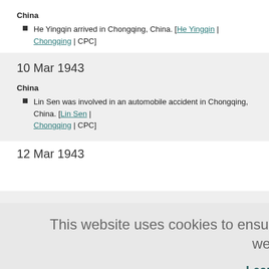China
He Yingqin arrived in Chongqing, China. [He Yingqin | Chongqing | CPC]
10 Mar 1943
China
Lin Sen was involved in an automobile accident in Chongqing, China. [Lin Sen | Chongqing | CPC]
12 Mar 1943
This website uses cookies to ensure you get the best experience on our website.
Learn more
Got it!
Chongqing,
Stilwell |